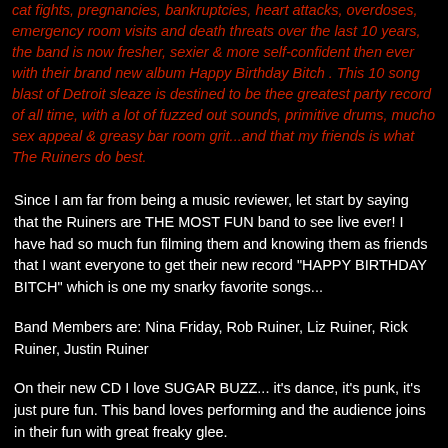cat fights, pregnancies, bankruptcies, heart attacks, overdoses, emergency room visits and death threats over the last 10 years, the band is now fresher, sexier & more self-confident then ever with their brand new album Happy Birthday Bitch . This 10 song blast of Detroit sleaze is destined to be thee greatest party record of all time, with a lot of fuzzed out sounds, primitive drums, mucho sex appeal & greasy bar room grit...and that my friends is what The Ruiners do best.
Since I am far from being a music reviewer, let start by saying that the Ruiners are THE MOST FUN band to see live ever! I have had so much fun filming them and knowing them as friends that I want everyone to get their new record "HAPPY BIRTHDAY BITCH" which is one my snarky favorite songs...
Band Members are: Nina Friday, Rob Ruiner, Liz Ruiner, Rick Ruiner, Justin Ruiner
On their new CD I love SUGAR BUZZ... it's dance, it's punk, it's just pure fun. This band loves performing and the audience joins in their fun with great freaky glee.